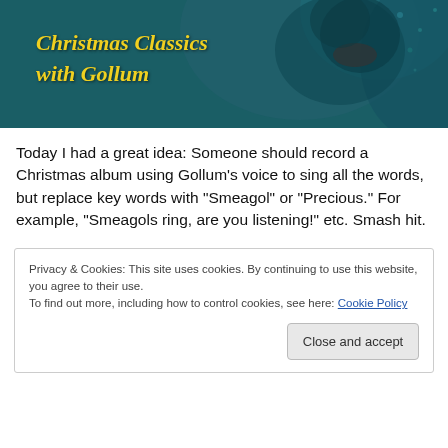[Figure (photo): Dark teal-toned image of Gollum from Lord of the Rings with mouth open, overlaid with italic yellow text reading 'Christmas Classics with Gollum']
Today I had a great idea: Someone should record a Christmas album using Gollum’s voice to sing all the words, but replace key words with “Smeagol” or “Precious.” For example, “Smeagols ring, are you listening!” etc. Smash hit.
Privacy & Cookies: This site uses cookies. By continuing to use this website, you agree to their use.
To find out more, including how to control cookies, see here: Cookie Policy